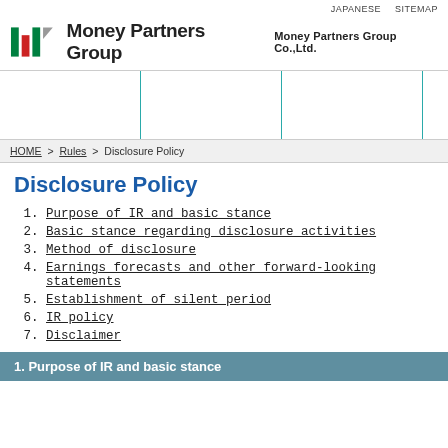JAPANESE   SITEMAP
[Figure (logo): Money Partners Group logo with colored bar icon and company name 'Money Partners Group Co.,Ltd.']
HOME > Rules > Disclosure Policy
Disclosure Policy
1. Purpose of IR and basic stance
2. Basic stance regarding disclosure activities
3. Method of disclosure
4. Earnings forecasts and other forward-looking statements
5. Establishment of silent period
6. IR policy
7. Disclaimer
1. Purpose of IR and basic stance